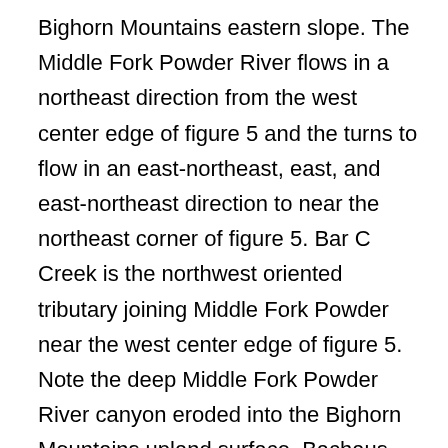Bighorn Mountains eastern slope. The Middle Fork Powder River flows in a northeast direction from the west center edge of figure 5 and the turns to flow in an east-northeast, east, and east-northeast direction to near the northeast corner of figure 5. Bar C Creek is the northwest oriented tributary joining Middle Fork Powder near the west center edge of figure 5. Note the deep Middle Fork Powder River canyon eroded into the Bighorn Mountains upland surface. Bachaus Creek is an east, north, and northeast oriented tributary flowing to the east oriented Middle Fork Powder River canyon. Buffalo Creek flows in a northeast, east, north and northeast direction in the southeast corner region of figure 5 and then reappears in figure 5 and flows in a north-northwest direction near the northeast corner of figure 5 and joins the Middle Fork Powder River just north of figure 5. Eagle Creek originates